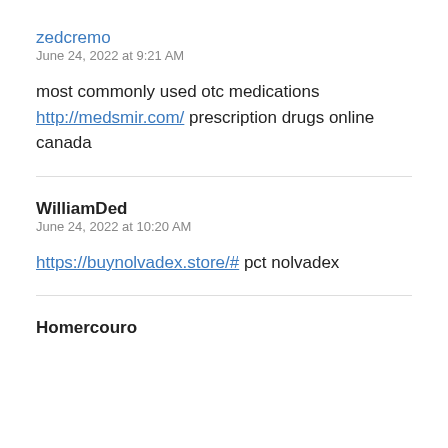zedcremo
June 24, 2022 at 9:21 AM
most commonly used otc medications http://medsmir.com/ prescription drugs online canada
WilliamDed
June 24, 2022 at 10:20 AM
https://buynolvadex.store/# pct nolvadex
Homercouro